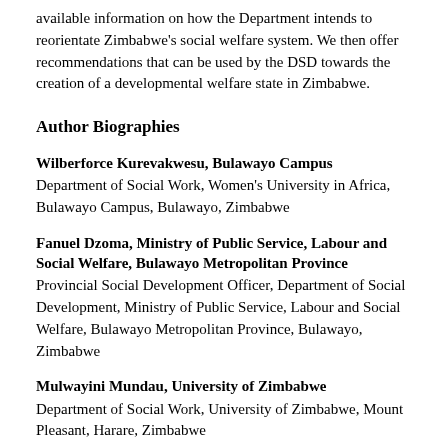available information on how the Department intends to reorientate Zimbabwe's social welfare system. We then offer recommendations that can be used by the DSD towards the creation of a developmental welfare state in Zimbabwe.
Author Biographies
Wilberforce Kurevakwesu, Bulawayo Campus
Department of Social Work, Women's University in Africa, Bulawayo Campus, Bulawayo, Zimbabwe
Fanuel Dzoma, Ministry of Public Service, Labour and Social Welfare, Bulawayo Metropolitan Province
Provincial Social Development Officer, Department of Social Development, Ministry of Public Service, Labour and Social Welfare, Bulawayo Metropolitan Province, Bulawayo, Zimbabwe
Mulwayini Mundau, University of Zimbabwe
Department of Social Work, University of Zimbabwe, Mount Pleasant, Harare, Zimbabwe